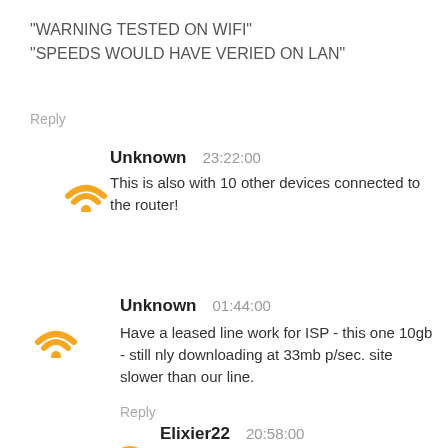“WARNING TESTED ON WIFI” “SPEEDS WOULD HAVE VERIED ON LAN”
Reply
Unknown  23:22:00
This is also with 10 other devices connected to the router!
Unknown  01:44:00
Have a leased line work for ISP - this one 10gb - still nly downloading at 33mb p/sec. site slower than our line.
Reply
Elixier22  20:58:00
This idiot clearly thinks he can doenload 1GB in